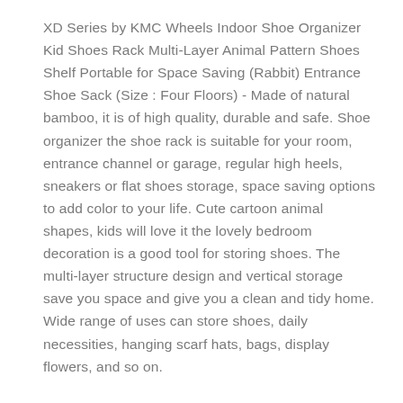XD Series by KMC Wheels Indoor Shoe Organizer Kid Shoes Rack Multi-Layer Animal Pattern Shoes Shelf Portable for Space Saving (Rabbit) Entrance Shoe Sack (Size : Four Floors) - Made of natural bamboo, it is of high quality, durable and safe. Shoe organizer the shoe rack is suitable for your room, entrance channel or garage, regular high heels, sneakers or flat shoes storage, space saving options to add color to your life. Cute cartoon animal shapes, kids will love it the lovely bedroom decoration is a good tool for storing shoes. The multi-layer structure design and vertical storage save you space and give you a clean and tidy home. Wide range of uses can store shoes, daily necessities, hanging scarf hats, bags, display flowers, and so on.